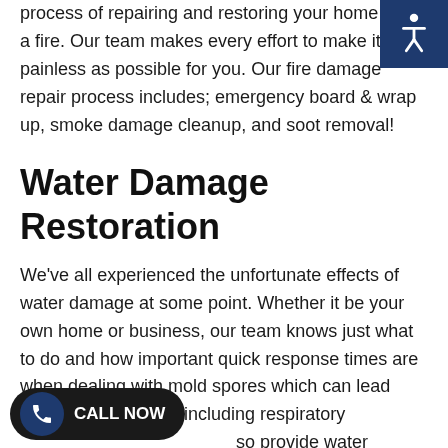process of repairing and restoring your home after a fire. Our team makes every effort to make it as painless as possible for you. Our fire damage repair process includes; emergency board & wrap up, smoke damage cleanup, and soot removal!
Water Damage Restoration
We've all experienced the unfortunate effects of water damage at some point. Whether it be your own home or business, our team knows just what to do and how important quick response times are when dealing with mold spores which can lead towards health risks including respiratory so provide water mitigation to help incidents.